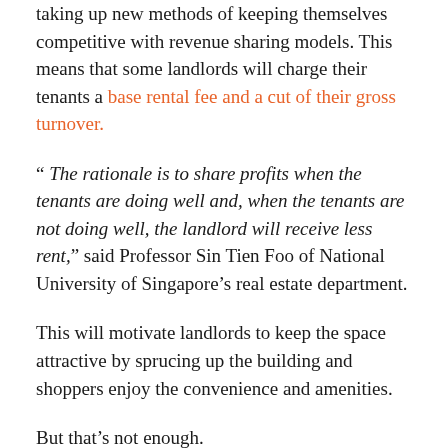taking up new methods of keeping themselves competitive with revenue sharing models. This means that some landlords will charge their tenants a base rental fee and a cut of their gross turnover.
“ The rationale is to share profits when the tenants are doing well and, when the tenants are not doing well, the landlord will receive less rent,” said Professor Sin Tien Foo of National University of Singapore’s real estate department.
This will motivate landlords to keep the space attractive by sprucing up the building and shoppers enjoy the convenience and amenities.
But that’s not enough.
A golden question for retailers is to ask themselves what customers do not get when they shop online